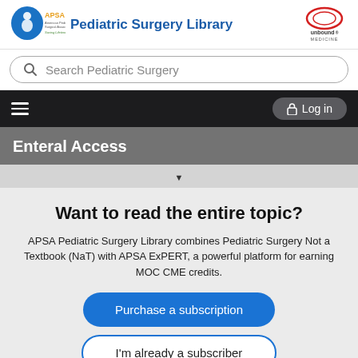[Figure (logo): APSA American Pediatric Surgical Association logo with stylized blue figure and text 'Saving Lifetimes']
Pediatric Surgery Library
[Figure (logo): Unbound Medicine logo - oval shape with 'unbound MEDICINE' text]
Search Pediatric Surgery
Enteral Access
Want to read the entire topic?
APSA Pediatric Surgery Library combines Pediatric Surgery Not a Textbook (NaT) with APSA ExPERT, a powerful platform for earning MOC CME credits.
Purchase a subscription
I'm already a subscriber
Browse sample topics